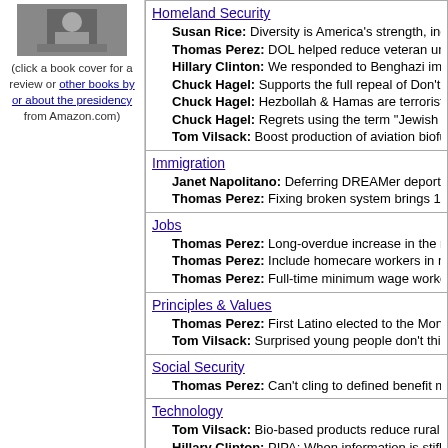[Figure (photo): Book cover photo showing a person at a podium]
(click a book cover for a review or other books by or about the presidency from Amazon.com)
Homeland Security
Susan Rice: Diversity is America's strength, including...
Thomas Perez: DOL helped reduce veteran unempl...
Hillary Clinton: We responded to Benghazi immedia...
Chuck Hagel: Supports the full repeal of Don't Ask, D...
Chuck Hagel: Hezbollah & Hamas are terrorists; Isra...
Chuck Hagel: Regrets using the term "Jewish lobby"
Tom Vilsack: Boost production of aviation biofuels fo...
Immigration
Janet Napolitano: Deferring DREAMer deportations...
Thomas Perez: Fixing broken system brings 11M wo...
Jobs
Thomas Perez: Long-overdue increase in the minimu...
Thomas Perez: Include homecare workers in minimum...
Thomas Perez: Full-time minimum wage workers sh...
Principles & Values
Thomas Perez: First Latino elected to the Montgome...
Tom Vilsack: Surprised young people don't think US...
Social Security
Thomas Perez: Can't cling to defined benefit mentali...
Technology
Tom Vilsack: Bio-based products reduce rural Ameri...
Hillary Clinton: PIPA: When information is stifled, In...
Hillary Clinton: WikiLeaks tears at fabric of governm...
War & Peace
Hillary Clinton: Policy of prevention, not containmen...
Chuck Hagel: Hezbollah has shown determination...